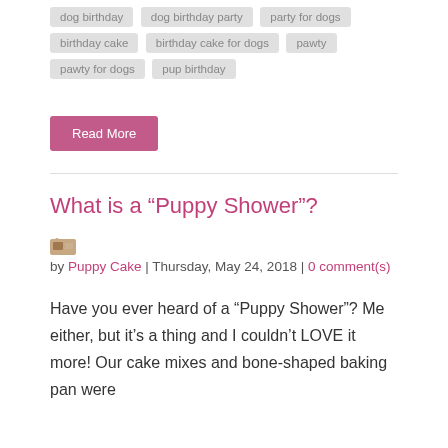dog birthday
dog birthday party
party for dogs
birthday cake
birthday cake for dogs
pawty
pawty for dogs
pup birthday
Read More
What is a “Puppy Shower”?
by Puppy Cake | Thursday, May 24, 2018 | 0 comment(s)
Have you ever heard of a “Puppy Shower”? Me either, but it’s a thing and I couldn’t LOVE it more! Our cake mixes and bone-shaped baking pan were